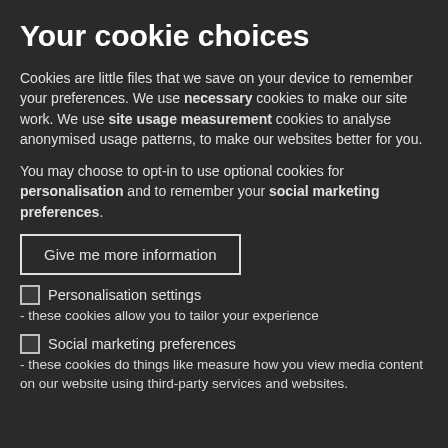Your cookie choices
Cookies are little files that we save on your device to remember your preferences. We use necessary cookies to make our site work. We use site usage measurement cookies to analyse anonymised usage patterns, to make our websites better for you.
You may choose to opt-in to use optional cookies for personalisation and to remember your social marketing preferences.
Give me more information
Personalisation settings
- these cookies allow you to tailor your experience
Social marketing preferences
- these cookies do things like measure how you view media content on our website using third-party services and websites.